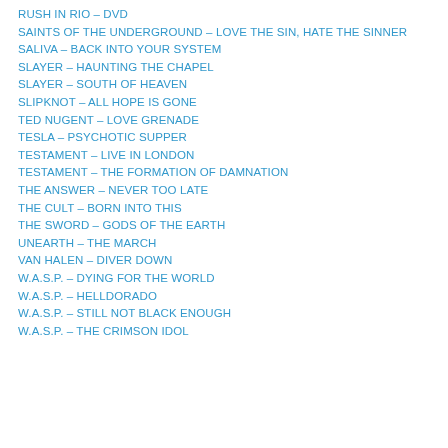RUSH IN RIO – DVD
SAINTS OF THE UNDERGROUND – LOVE THE SIN, HATE THE SINNER
SALIVA – BACK INTO YOUR SYSTEM
SLAYER – HAUNTING THE CHAPEL
SLAYER – SOUTH OF HEAVEN
SLIPKNOT – ALL HOPE IS GONE
TED NUGENT – LOVE GRENADE
TESLA – PSYCHOTIC SUPPER
TESTAMENT – LIVE IN LONDON
TESTAMENT – THE FORMATION OF DAMNATION
THE ANSWER – NEVER TOO LATE
THE CULT – BORN INTO THIS
THE SWORD – GODS OF THE EARTH
UNEARTH – THE MARCH
VAN HALEN – DIVER DOWN
W.A.S.P. – DYING FOR THE WORLD
W.A.S.P. – HELLDORADO
W.A.S.P. – STILL NOT BLACK ENOUGH
W.A.S.P. – THE CRIMSON IDOL